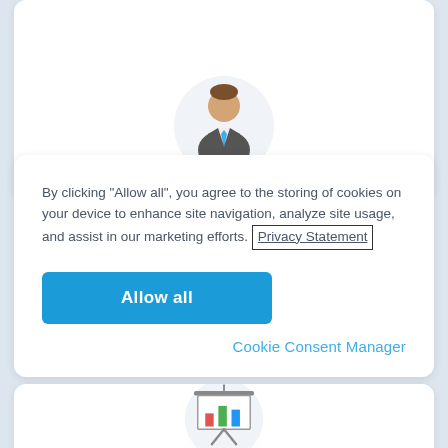[Figure (illustration): Circular avatar icon of a person in a business suit with a blue tie, partially visible at top of page]
By clicking “Allow all”, you agree to the storing of cookies on your device to enhance site navigation, analyze site usage, and assist in our marketing efforts. Privacy Statement
[Figure (other): Blue 'Allow all' button]
Cookie Consent Manager
[Figure (illustration): Circular icon of a presentation board with a bar chart, partially visible at bottom of page]